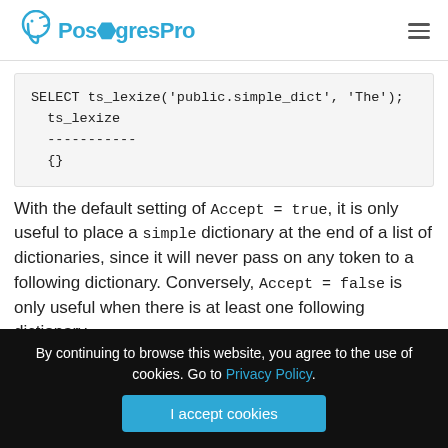PostgresPro
SELECT ts_lexize('public.simple_dict', 'The');
  ts_lexize
  -----------
  {}
With the default setting of Accept = true, it is only useful to place a simple dictionary at the end of a list of dictionaries, since it will never pass on any token to a following dictionary. Conversely, Accept = false is only useful when there is at least one following dictionary.
By continuing to browse this website, you agree to the use of cookies. Go to Privacy Policy.
I accept cookies